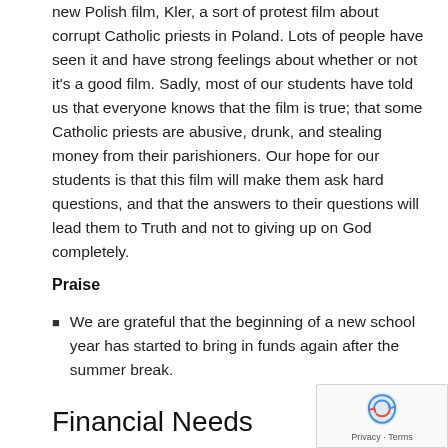new Polish film, Kler, a sort of protest film about corrupt Catholic priests in Poland. Lots of people have seen it and have strong feelings about whether or not it's a good film. Sadly, most of our students have told us that everyone knows that the film is true; that some Catholic priests are abusive, drunk, and stealing money from their parishioners. Our hope for our students is that this film will make them ask hard questions, and that the answers to their questions will lead them to Truth and not to giving up on God completely.
Praise
We are grateful that the beginning of a new school year has started to bring in funds again after the summer break.
Financial Needs